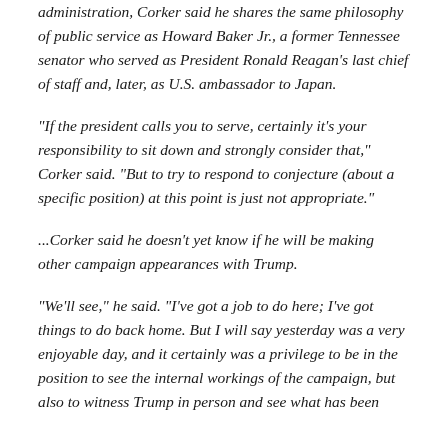administration, Corker said he shares the same philosophy of public service as Howard Baker Jr., a former Tennessee senator who served as President Ronald Reagan's last chief of staff and, later, as U.S. ambassador to Japan.
“If the president calls you to serve, certainly it’s your responsibility to sit down and strongly consider that,” Corker said. “But to try to respond to conjecture (about a specific position) at this point is just not appropriate.”
...Corker said he doesn’t yet know if he will be making other campaign appearances with Trump.
“We’ll see,” he said. “I’ve got a job to do here; I’ve got things to do back home. But I will say yesterday was a very enjoyable day, and it certainly was a privilege to be in the position to see the internal workings of the campaign, but also to witness Trump in person and see what has been